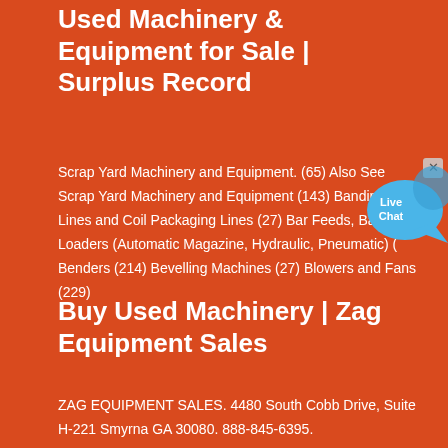Used Machinery & Equipment for Sale | Surplus Record
Scrap Yard Machinery and Equipment. (65) Also See Scrap Yard Machinery and Equipment (143) Banding Lines and Coil Packaging Lines (27) Bar Feeds, Bar Loaders (Automatic Magazine, Hydraulic, Pneumatic) ( Benders (214) Bevelling Machines (27) Blowers and Fans (229)
[Figure (illustration): Live Chat speech bubble widget in blue with 'Live Chat' text and a close X button]
Buy Used Machinery | Zag Equipment Sales
ZAG EQUIPMENT SALES. 4480 South Cobb Drive, Suite H-221 Smyrna GA 30080. 888-845-6395.